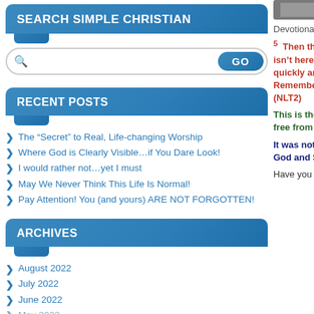SEARCH SIMPLE CHRISTIAN
RECENT POSTS
The “Secret” to Real, Life-changing Worship
Where God is Clearly Visible…if You Dare Look!
I would rather not…yet I must
May We Never Think This Life Is Normal!
Pay Attention! You (and yours) ARE NOT FORGOTTEN!
ARCHIVES
August 2022
July 2022
June 2022
May 2022
[Figure (photo): Thumbnail image at top right]
Devotional Thought o
5  Then the angel spol said. “I know you are  He isn’t here! He is r would happen. Come now, go quickly and t the dead, and he is go him there. Remembe (NLT2)
This is the way our C women freeof compro and free from ideolog
It was not an easy tas have died … to persu of God and Saviour: would credit such a f
Have you ever needed